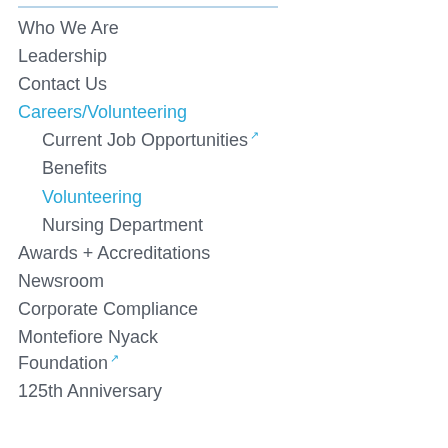Who We Are
Leadership
Contact Us
Careers/Volunteering
Current Job Opportunities
Benefits
Volunteering
Nursing Department
Awards + Accreditations
Newsroom
Corporate Compliance
Montefiore Nyack Foundation
125th Anniversary